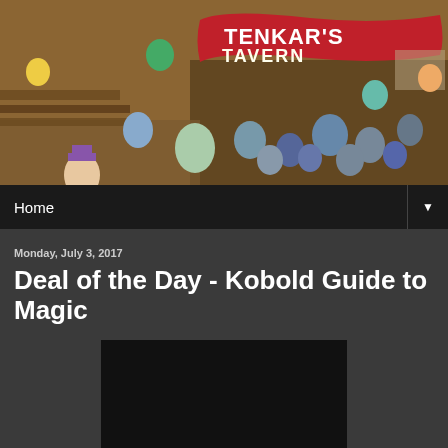[Figure (illustration): Tenkar's Tavern blog header banner showing a colorful cartoon illustration of a busy tavern scene with many fantastical characters. A large red banner reading TENKAR'S TAVERN hangs prominently in the scene.]
Home ▼
Monday, July 3, 2017
Deal of the Day - Kobold Guide to Magic
[Figure (photo): Dark/black rectangular image placeholder for article content]